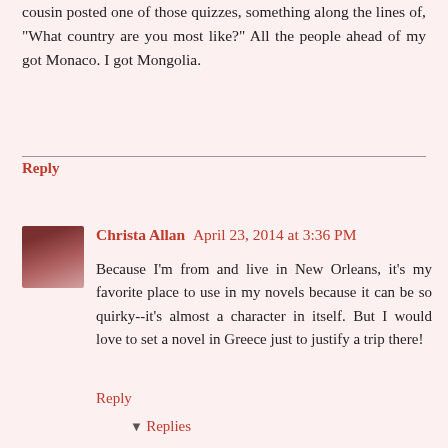cousin posted one of those quizzes, something along the lines of, "What country are you most like?" All the people ahead of my got Monaco. I got Mongolia.
Reply
Christa Allan  April 23, 2014 at 3:36 PM
Because I'm from and live in New Orleans, it's my favorite place to use in my novels because it can be so quirky--it's almost a character in itself. But I would love to set a novel in Greece just to justify a trip there!
Reply
Replies
Lauren Baratz-Logsted  April 24, 2014 at 7:39 AM
Christa, I just finished Cambridge by Susanna Kaysen - she also wrote Girl, Interrupted - part of which is set in Greece. I haven't been there but I've been to New Orleans  years  ago  when  I  was  young(er)  and